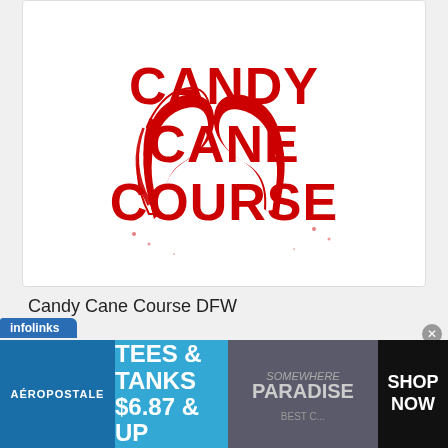[Figure (logo): Candy Cane Course logo with red text and candy cane decorations on white background]
Candy Cane Course DFW
[Figure (logo): Tunnel to Towers Foundation logo with runner carrying American flag, National Run, Walk & Climb Series]
[Figure (screenshot): Aéropostale advertisement banner: TEES & TANKS $6.87 & UP with SHOP NOW button]